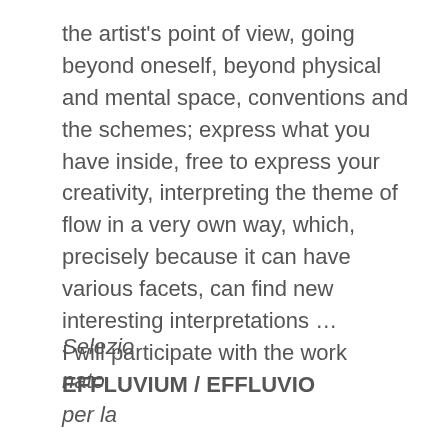the artist's point of view, going beyond oneself, beyond physical and mental space, conventions and the schemes; express what you have inside, free to express your creativity, interpreting the theme of flow in a very own way, which, precisely because it can have various facets, can find new interesting interpretations … I will participate with the work EFFLUVIUM / EFFLUVIO
Selezio
nato
per la